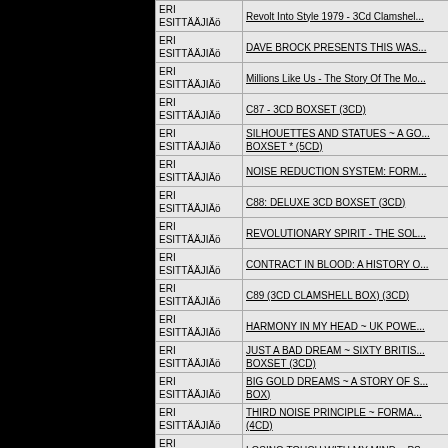| Artist | Title |
| --- | --- |
| ERI ESITTÄJJÄ | Revolt Into Style 1979 - 3Cd Clamshel... |
| ERI ESITTÄJJÄ | DAVE BROCK PRESENTS THIS WAS... |
| ERI ESITTÄJJÄ | Millions Like Us - The Story Of The Mo... |
| ERI ESITTÄJJÄ | C87 - 3CD BOXSET (3CD) |
| ERI ESITTÄJJÄ | SILHOUETTES AND STATUES ~ A GO... BOXSET * (5CD) |
| ERI ESITTÄJJÄ | NOISE REDUCTION SYSTEM: FORM... |
| ERI ESITTÄJJÄ | C88: DELUXE 3CD BOXSET (3CD) |
| ERI ESITTÄJJÄ | REVOLUTIONARY SPIRIT - THE SOL... |
| ERI ESITTÄJJÄ | CONTRACT IN BLOOD: A HISTORY O... |
| ERI ESITTÄJJÄ | C89 (3CD CLAMSHELL BOX) (3CD) |
| ERI ESITTÄJJÄ | HARMONY IN MY HEAD ~ UK POWE... |
| ERI ESITTÄJJÄ | JUST A BAD DREAM ~ SIXTY BRITIS... BOXSET (3CD) |
| ERI ESITTÄJJÄ | BIG GOLD DREAMS ~ A STORY OF S... BOX) |
| ERI ESITTÄJJÄ | THIRD NOISE PRINCIPLE ~ FORMA... (4CD) |
| ERI ESITTÄJJÄ | LOSING TOUCH WITH MY MIND ~ PS... |
| ERI ESITTÄJJÄ | OPTIMISM / REJECT ~ PUNK AND P... DELUXE BOOKPACK EDITION (4CD) |
| ERI ESITTÄJJÄ | ELECTRICAL LANGUAGE ~ INDEPEN... |
| ERI ESITTÄJJÄ | 1977 - THE YEAR PUNK BROKE (3CD... |